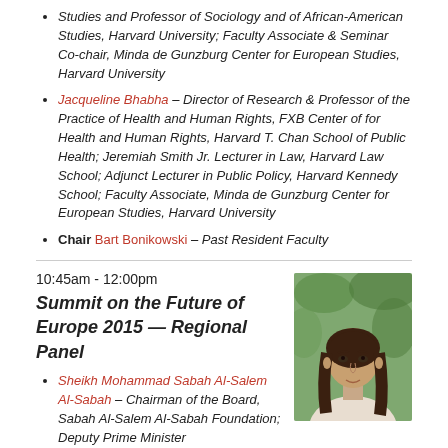Studies and Professor of Sociology and of African-American Studies, Harvard University; Faculty Associate & Seminar Co-chair, Minda de Gunzburg Center for European Studies, Harvard University
Jacqueline Bhabha – Director of Research & Professor of the Practice of Health and Human Rights, FXB Center of for Health and Human Rights, Harvard T. Chan School of Public Health; Jeremiah Smith Jr. Lecturer in Law, Harvard Law School; Adjunct Lecturer in Public Policy, Harvard Kennedy School; Faculty Associate, Minda de Gunzburg Center for European Studies, Harvard University
Chair Bart Bonikowski – Past Resident Faculty
10:45am - 12:00pm
Summit on the Future of Europe 2015 — Regional Panel
Sheikh Mohammad Sabah Al-Salem Al-Sabah – Chairman of the Board, Sabah Al-Salem Al-Sabah Foundation; Deputy Prime Minister
[Figure (photo): Headshot of a woman with long dark hair, wearing a light-colored top, photographed outdoors with a green background.]